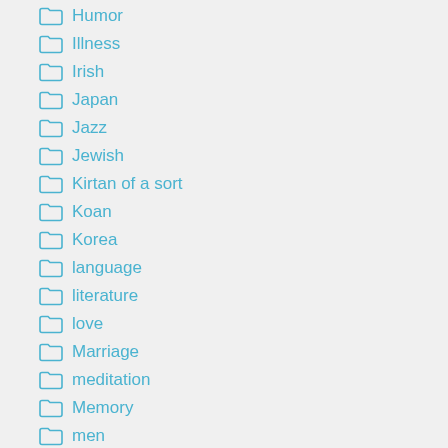Humor
Illness
Irish
Japan
Jazz
Jewish
Kirtan of a sort
Koan
Korea
language
literature
love
Marriage
meditation
Memory
men